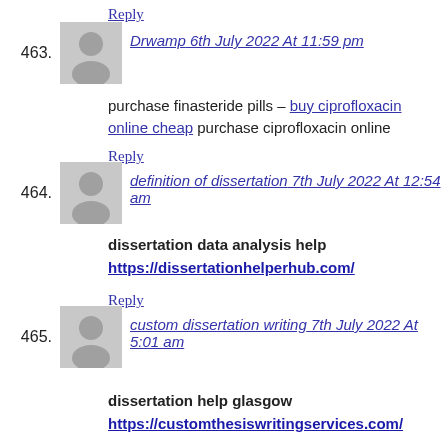Reply
463. Drwamp 6th July 2022 At 11:59 pm
purchase finasteride pills – buy ciprofloxacin online cheap purchase ciprofloxacin online
Reply
464. definition of dissertation 7th July 2022 At 12:54 am
dissertation data analysis help https://dissertationhelperhub.com/
Reply
465. custom dissertation writing 7th July 2022 At 5:01 am
dissertation help glasgow https://customthesiswritingservices.com/